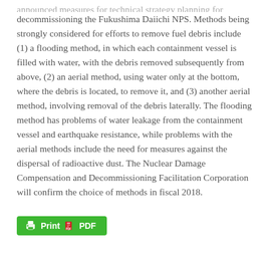announced measures for technical strategy planning for decommissioning the Fukushima Daiichi NPS. Methods being strongly considered for efforts to remove fuel debris include (1) a flooding method, in which each containment vessel is filled with water, with the debris removed subsequently from above, (2) an aerial method, using water only at the bottom, where the debris is located, to remove it, and (3) another aerial method, involving removal of the debris laterally. The flooding method has problems of water leakage from the containment vessel and earthquake resistance, while problems with the aerial methods include the need for measures against the dispersal of radioactive dust. The Nuclear Damage Compensation and Decommissioning Facilitation Corporation will confirm the choice of methods in fiscal 2018.
[Figure (other): Green Print and PDF button with printer and PDF icons]
YOU MAY ALSO LIKE...